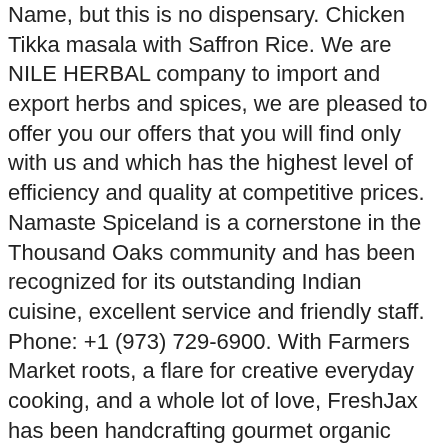Name, but this is no dispensary. Chicken Tikka masala with Saffron Rice. We are NILE HERBAL company to import and export herbs and spices, we are pleased to offer you our offers that you will find only with us and which has the highest level of efficiency and quality at competitive prices. Namaste Spiceland is a cornerstone in the Thousand Oaks community and has been recognized for its outstanding Indian cuisine, excellent service and friendly staff. Phone: +1 (973) 729-6900. With Farmers Market roots, a flare for creative everyday cooking, and a whole lot of love, FreshJax has been handcrafting gourmet organic spice blends in Jacksonville, FL since 2011. http://Www.arrowheadherbs.com. 2- ECOA (Egyptian Center of Organic Agriculture) . Fennel – Celery – Sage – Hibiscus – Laurel leaves – Orange peel -Dried lemon yellow Spices include whole Turkey bay leaves, Mexican oregano, and Albanian juniper berries. Order online or visit near you. A closely similar sauce is also served by the Entrecôte groups of restaurants operated by the descendants of Paul Gineste de Saurs in Paris, Geneva, Toulouse, Lyon, Madrid, London, New York, Beirut, Dubai, Beirut, Rio de Janeiro, and other cities. Safran...